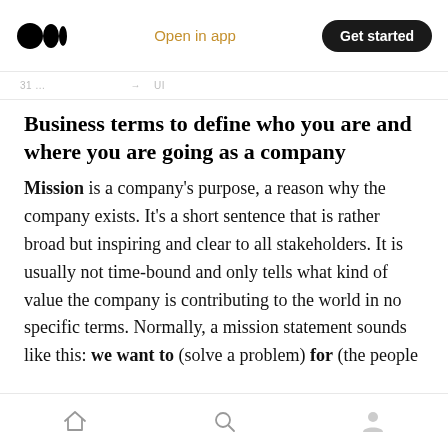Open in app   Get started
Business terms to define who you are and where you are going as a company
Mission is a company's purpose, a reason why the company exists. It's a short sentence that is rather broad but inspiring and clear to all stakeholders. It is usually not time-bound and only tells what kind of value the company is contributing to the world in no specific terms. Normally, a mission statement sounds like this: we want to (solve a problem) for (the people who will benefit from it) by (the primary means of…
Home  Search  Profile